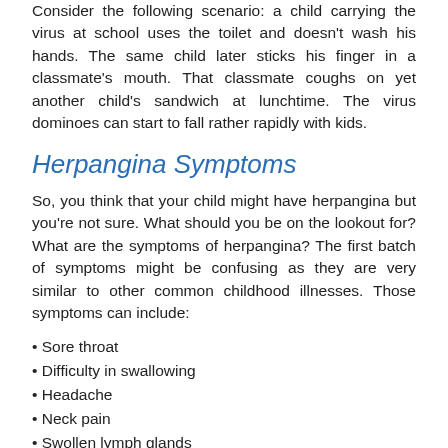Consider the following scenario: a child carrying the virus at school uses the toilet and doesn't wash his hands. The same child later sticks his finger in a classmate's mouth. That classmate coughs on yet another child's sandwich at lunchtime. The virus dominoes can start to fall rather rapidly with kids.
Herpangina Symptoms
So, you think that your child might have herpangina but you're not sure. What should you be on the lookout for? What are the symptoms of herpangina? The first batch of symptoms might be confusing as they are very similar to other common childhood illnesses. Those symptoms can include:
Sore throat
Difficulty in swallowing
Headache
Neck pain
Swollen lymph glands